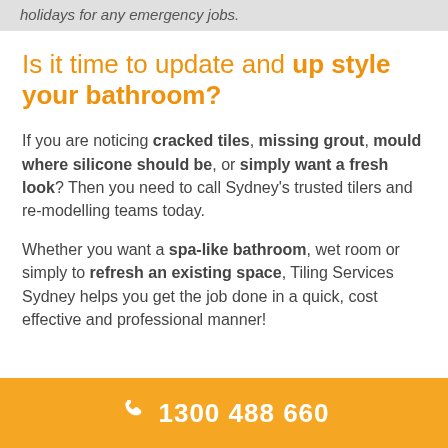holidays for any emergency jobs.
Is it time to update and up style your bathroom?
If you are noticing cracked tiles, missing grout, mould where silicone should be, or simply want a fresh look? Then you need to call Sydney’s trusted tilers and re-modelling teams today.
Whether you want a spa-like bathroom, wet room or simply to refresh an existing space, Tiling Services Sydney helps you get the job done in a quick, cost effective and professional manner!
1300 488 660